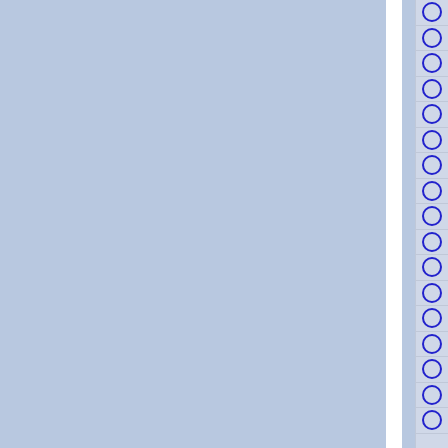[Figure (other): Page layout showing two large blue-grey column panels separated by a white vertical divider, with a narrow right-side panel containing a vertical list of blue circle outlines (radio buttons or checkbox indicators) separated by horizontal lines.]